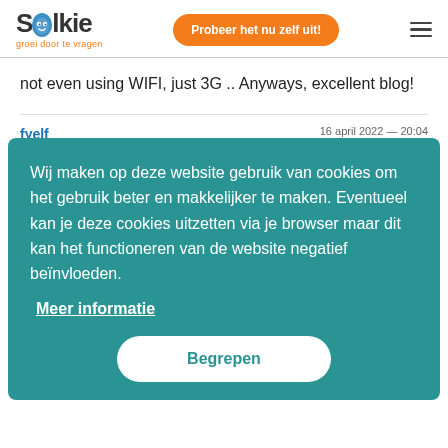Solkie — groei door te vragen
not even using WIFI, just 3G .. Anyways, excellent blog!
fyelf
I am r... writing... web s...
[Figure (screenshot): Cookie consent overlay on Solkie website with text: Wij maken op deze website gebruik van cookies om het gebruik beter en makkelijker te maken. Eventueel kan je deze cookies uitzetten via je browser maar dit kan het functioneren van de website negatief beïnvloeden. With links 'Meer informatie' and button 'Begrepen'.]
https...
schrijf...